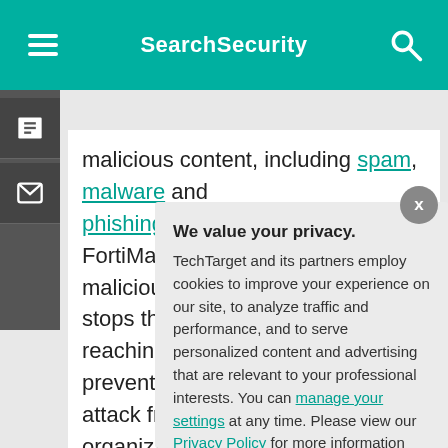SearchSecurity
malicious content, including spam, malware and phishing attempts. When Fortinet FortiMail detects malicious content in an email, it stops that email from reaching its recipient, thus preventing the associated attack from succeeding. For most organizations, the majority of threats come via email, and having an email security solution is a necessity to reduce the risk of attacks that occur.
We value your privacy.
TechTarget and its partners employ cookies to improve your experience on our site, to analyze traffic and performance, and to serve personalized content and advertising that are relevant to your professional interests. You can manage your settings at any time. Please view our Privacy Policy for more information